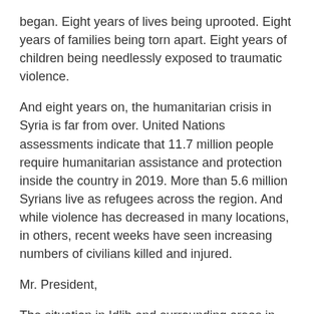began. Eight years of lives being uprooted. Eight years of families being torn apart. Eight years of children being needlessly exposed to traumatic violence.
And eight years on, the humanitarian crisis in Syria is far from over. United Nations assessments indicate that 11.7 million people require humanitarian assistance and protection inside the country in 2019. More than 5.6 million Syrians live as refugees across the region. And while violence has decreased in many locations, in others, recent weeks have seen increasing numbers of civilians killed and injured.
Mr. President,
The situation in Idlib and surrounding areas in the north-west of Syria remains of grave concern.
The agreement to establish a demilitarized zone announced by the Russian Federation and Turkey on 17 September last